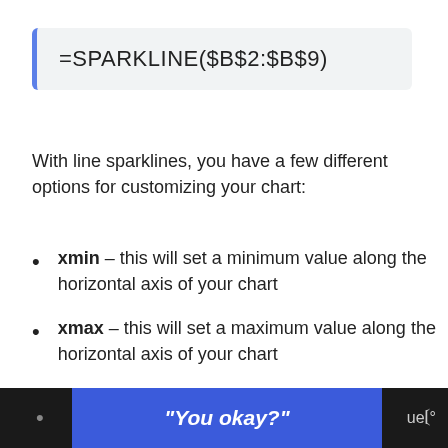With line sparklines, you have a few different options for customizing your chart:
xmin – this will set a minimum value along the horizontal axis of your chart
xmax – this will set a maximum value along the horizontal axis of your chart
ymin – this will set a minimum value along the vertical axis of your chart
"You okay?"